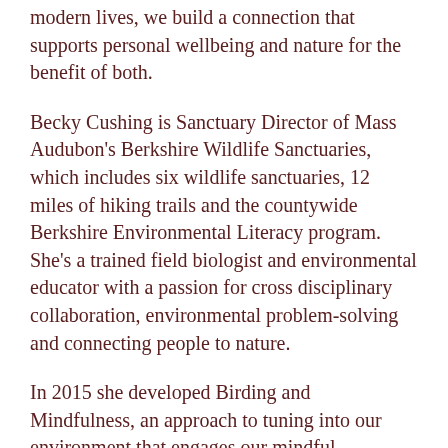modern lives, we build a connection that supports personal wellbeing and nature for the benefit of both.
Becky Cushing is Sanctuary Director of Mass Audubon's Berkshire Wildlife Sanctuaries, which includes six wildlife sanctuaries, 12 miles of hiking trails and the countywide Berkshire Environmental Literacy program. She's a trained field biologist and environmental educator with a passion for cross disciplinary collaboration, environmental problem-solving and connecting people to nature.
In 2015 she developed Birding and Mindfulness, an approach to tuning into our environment that engages our mindful awareness of birds and is offered through programming at Kripalu Center for Yoga and Health. She's shared these practices through presentations and workshops for conservation professionals, educators and the general public throughout New England. She serves on the Kripalu School...